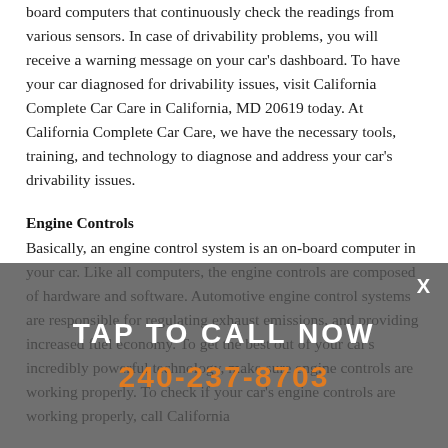board computers that continuously check the readings from various sensors. In case of drivability problems, you will receive a warning message on your car's dashboard. To have your car diagnosed for drivability issues, visit California Complete Car Care in California, MD 20619 today. At California Complete Car Care, we have the necessary tools, training, and technology to diagnose and address your car's drivability issues.
Engine Controls
Basically, an engine control system is an on-board computer in your car. Like all computers, the engine controls are composed of hardware and software. Automotive engine control systems are responsible for regulating exhaust emissions, and providing increased fuel economy. To get the best out of your car's incredibly powerful technology, make sure engine controls are working properly. To check if your car's engine controls are working properly, call California
[Figure (other): Call-to-action overlay banner with dark grey semi-transparent background. Shows 'TAP TO CALL NOW' in white bold uppercase letters and phone number '240-237-8703' in orange bold letters. Has an X close button in top right.]